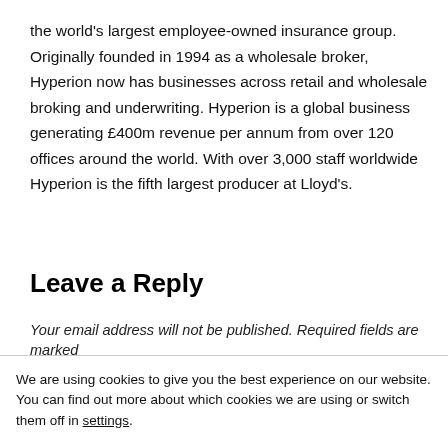the world's largest employee-owned insurance group. Originally founded in 1994 as a wholesale broker, Hyperion now has businesses across retail and wholesale broking and underwriting. Hyperion is a global business generating £400m revenue per annum from over 120 offices around the world. With over 3,000 staff worldwide Hyperion is the fifth largest producer at Lloyd's.
Leave a Reply
Your email address will not be published. Required fields are marked
We are using cookies to give you the best experience on our website.
You can find out more about which cookies we are using or switch them off in settings.